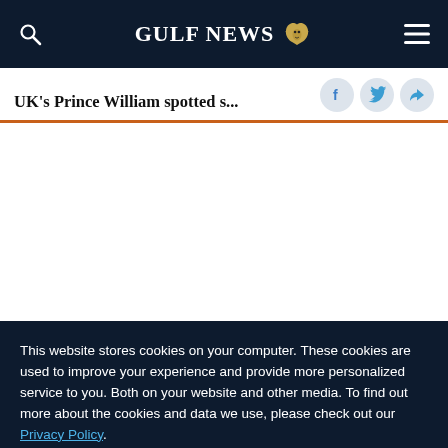GULF NEWS
UK's Prince William spotted s...
This website stores cookies on your computer. These cookies are used to improve your experience and provide more personalized service to you. Both on your website and other media. To find out more about the cookies and data we use, please check out our Privacy Policy.
OK